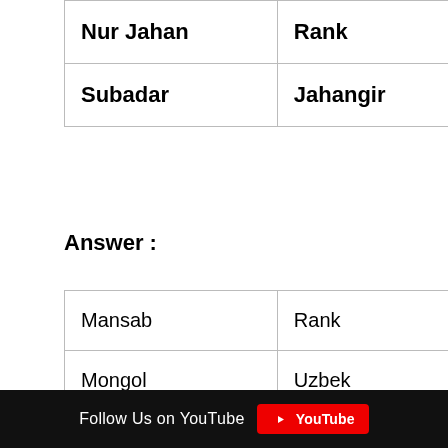| Nur Jahan | Rank |
| Subadar | Jahangir |
Answer :
| Mansab | Rank |
| Mongol | Uzbek |
| Sisodia Rajput | Mewar |
Follow Us on YouTube